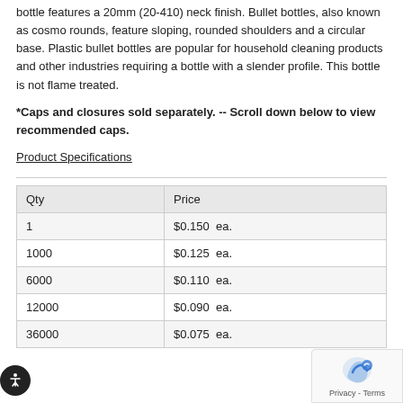bottle features a 20mm (20-410) neck finish. Bullet bottles, also known as cosmo rounds, feature sloping, rounded shoulders and a circular base. Plastic bullet bottles are popular for household cleaning products and other industries requiring a bottle with a slender profile. This bottle is not flame treated.
*Caps and closures sold separately. -- Scroll down below to view recommended caps.
Product Specifications
| Qty | Price |
| --- | --- |
| 1 | $0.150  ea. |
| 1000 | $0.125  ea. |
| 6000 | $0.110  ea. |
| 12000 | $0.090  ea. |
| 36000 | $0.075  ea. |